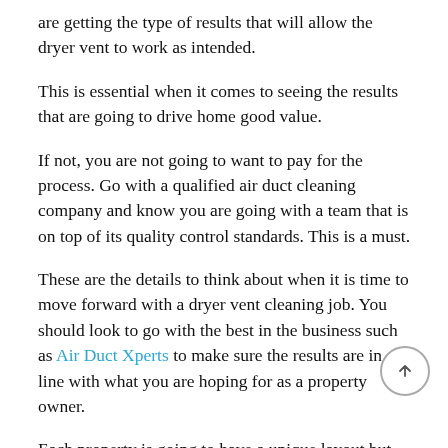are getting the type of results that will allow the dryer vent to work as intended.
This is essential when it comes to seeing the results that are going to drive home good value.
If not, you are not going to want to pay for the process. Go with a qualified air duct cleaning company and know you are going with a team that is on top of its quality control standards. This is a must.
These are the details to think about when it is time to move forward with a dryer vent cleaning job. You should look to go with the best in the business such as Air Duct Xperts to make sure the results are in line with what you are hoping for as a property owner.
Each property is going to have a unique layout but it's important to go with a specialist that has done this before. Air Duct Xperts continues to stand out